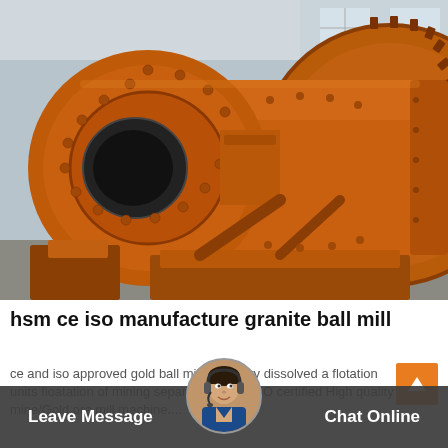[Figure (photo): Large orange industrial ball mill machine in a factory setting, showing the cylindrical drum with a large gear ring on the right side and a spherical feed opening on the left. The machine is painted bright orange/rust-orange color.]
hsm ce iso manufacture granite ball mill
ce and iso approved gold ball mill - . factory dissolved a flotation units floatation of mining separation... CE/ISO certified High quality mine/Gold ore mill machine....
[Figure (photo): Customer service representative avatar: a woman wearing a headset, circular portrait photo overlaid on the bottom bar.]
Leave Message
Chat Online